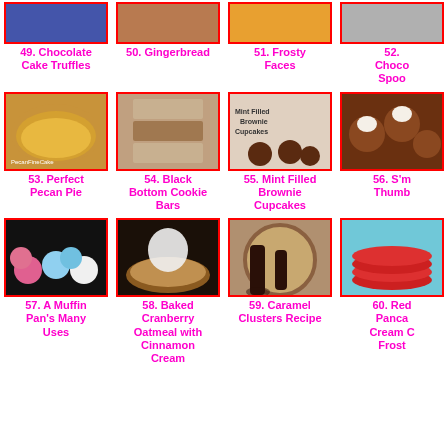[Figure (photo): Chocolate Cake Truffles food photo]
49. Chocolate Cake Truffles
[Figure (photo): Gingerbread food photo]
50. Gingerbread
[Figure (photo): Frosty Faces food photo]
51. Frosty Faces
[Figure (photo): Chocolate Spoons food photo]
52. Choco Spoo
[Figure (photo): Perfect Pecan Pie food photo]
53. Perfect Pecan Pie
[Figure (photo): Black Bottom Cookie Bars food photo]
54. Black Bottom Cookie Bars
[Figure (photo): Mint Filled Brownie Cupcakes food photo]
55. Mint Filled Brownie Cupcakes
[Figure (photo): S'more Thumbprint cookies food photo]
56. S'm Thumb
[Figure (photo): A Muffin Pan's Many Uses food photo]
57. A Muffin Pan's Many Uses
[Figure (photo): Baked Cranberry Oatmeal with Cinnamon Cream food photo]
58. Baked Cranberry Oatmeal with Cinnamon Cream
[Figure (photo): Caramel Clusters Recipe food photo]
59. Caramel Clusters Recipe
[Figure (photo): Red Pancake Cream Cheese Frosting food photo]
60. Red Panca Cream C Frost